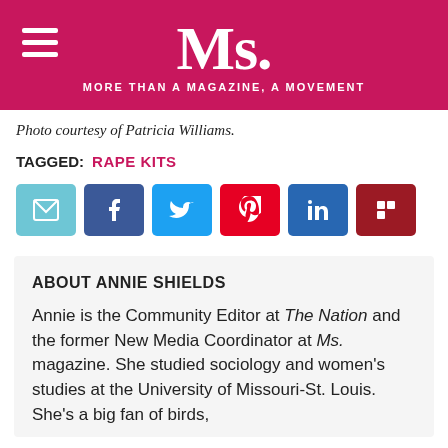Ms. — MORE THAN A MAGAZINE, A MOVEMENT
Photo courtesy of Patricia Williams.
TAGGED: RAPE KITS
[Figure (infographic): Social share buttons: email, Facebook, Twitter, Pinterest, LinkedIn, Flipboard]
ABOUT ANNIE SHIELDS
Annie is the Community Editor at The Nation and the former New Media Coordinator at Ms. magazine. She studied sociology and women's studies at the University of Missouri-St. Louis. She's a big fan of birds,